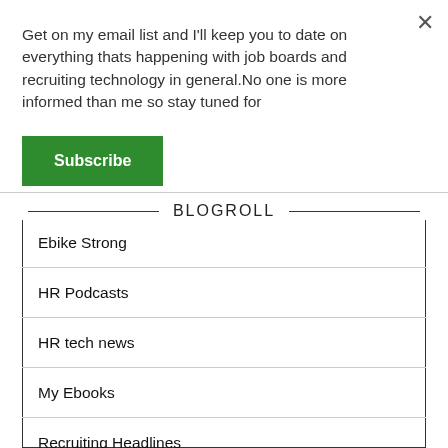Get on my email list and I'll keep you to date on everything thats happening with job boards and recruiting technology in general.No one is more informed than me so stay tuned for
Subscribe
BLOGROLL
Ebike Strong
HR Podcasts
HR tech news
My Ebooks
Recruiting Headlines